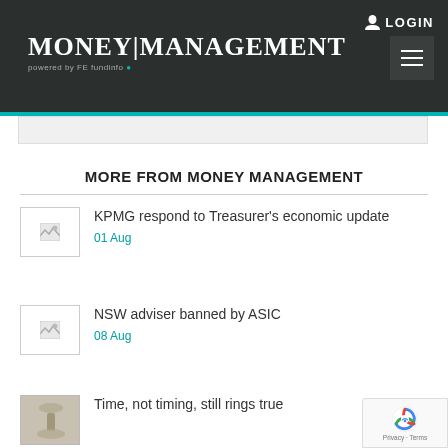MONEY|MANAGEMENT powered by FE fundinfo
MORE FROM MONEY MANAGEMENT
KPMG respond to Treasurer's economic update
01 Aug
NSW adviser banned by ASIC
08 Aug
Time, not timing, still rings true